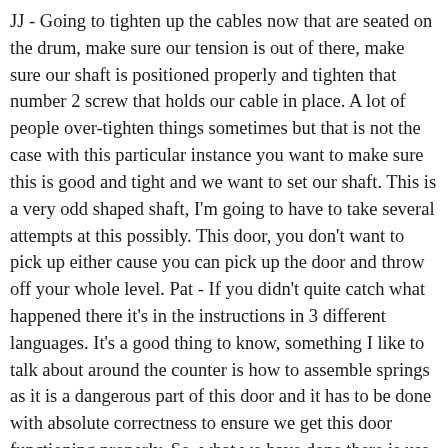JJ - Going to tighten up the cables now that are seated on the drum, make sure our tension is out of there, make sure our shaft is positioned properly and tighten that number 2 screw that holds our cable in place. A lot of people over-tighten things sometimes but that is not the case with this particular instance you want to make sure this is good and tight and we want to set our shaft. This is a very odd shaped shaft, I'm going to have to take several attempts at this possibly. This door, you don't want to pick up either cause you can pick up the door and throw off your whole level. Pat - If you didn't quite catch what happened there it's in the instructions in 3 different languages. It's a good thing to know, something I like to talk about around the counter is how to assemble springs as it is a dangerous part of this door and it has to be done with absolute correctness to ensure we get this door functioning properly. So, what we have done there is use a specialty tool to wind the spring to give the spring torsion so that it will lift the door. The garage door opener is made to open the door but it's not made to take a lot of weight, it's the springs that lift that